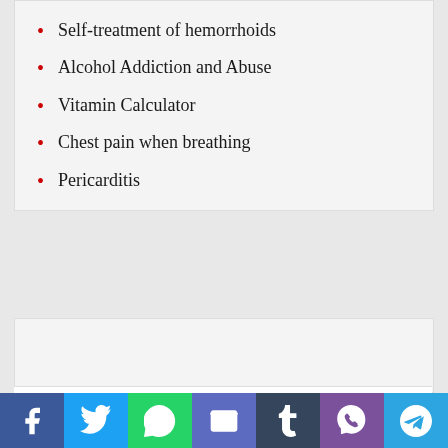Self-treatment of hemorrhoids
Alcohol Addiction and Abuse
Vitamin Calculator
Chest pain when breathing
Pericarditis
Partner advertising